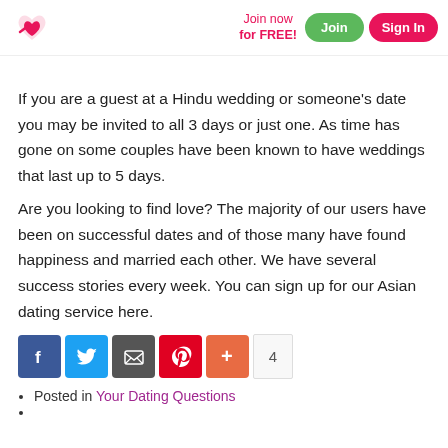Join now for FREE! Join Sign In
If you are a guest at a Hindu wedding or someone's date you may be invited to all 3 days or just one. As time has gone on some couples have been known to have weddings that last up to 5 days.
Are you looking to find love? The majority of our users have been on successful dates and of those many have found happiness and married each other. We have several success stories every week. You can sign up for our Asian dating service here.
[Figure (infographic): Social share buttons: Facebook, Twitter, Email, Pinterest, Plus, count 4]
Posted in Your Dating Questions